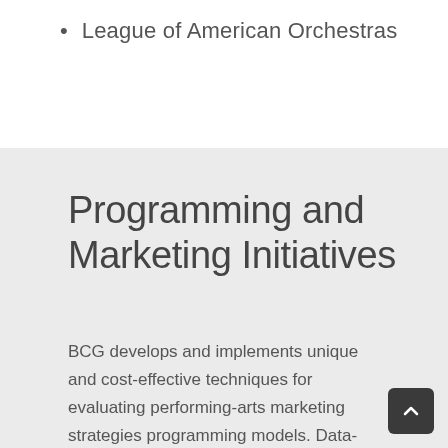League of American Orchestras
Programming and Marketing Initiatives
BCG develops and implements unique and cost-effective techniques for evaluating performing-arts marketing strategies programming models. Data-driven models